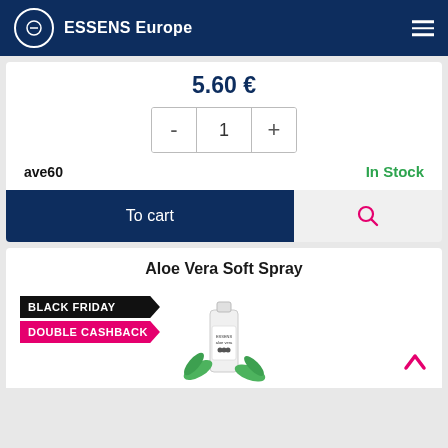ESSENS Europe
5.60 €
- 1 +
ave60   In Stock
To cart
Aloe Vera Soft Spray
BLACK FRIDAY
DOUBLE CASHBACK
[Figure (photo): Aloe Vera Soft Spray product bottle with green aloe leaves decoration]